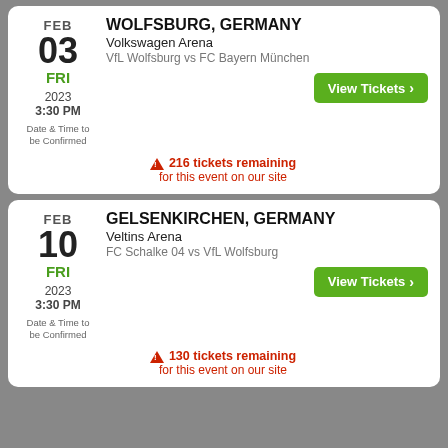[Figure (screenshot): Event listing card for VfL Wolfsburg vs FC Bayern München on Feb 03, 2023 at Volkswagen Arena, Wolfsburg Germany. Shows date FEB 03 FRI, time 3:30 PM, 2023, View Tickets button, and 216 tickets remaining warning.]
[Figure (screenshot): Event listing card for FC Schalke 04 vs VfL Wolfsburg on Feb 10, 2023 at Veltins Arena, Gelsenkirchen Germany. Shows date FEB 10 FRI, time 3:30 PM, 2023, View Tickets button, and 130 tickets remaining warning.]